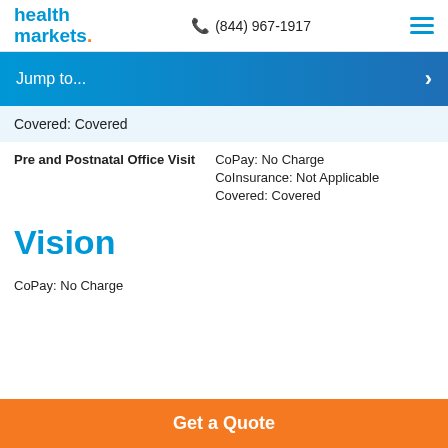health markets. (844) 967-1917
Jump to...
Covered: Covered
Pre and Postnatal Office Visit — CoPay: No Charge | CoInsurance: Not Applicable | Covered: Covered
Vision
CoPay: No Charge
Get a Quote